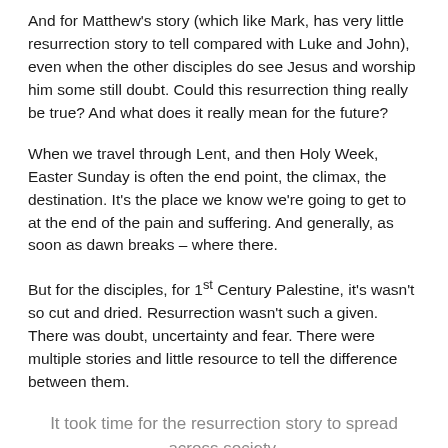And for Matthew's story (which like Mark, has very little resurrection story to tell compared with Luke and John), even when the other disciples do see Jesus and worship him some still doubt. Could this resurrection thing really be true? And what does it really mean for the future?
When we travel through Lent, and then Holy Week, Easter Sunday is often the end point, the climax, the destination. It's the place we know we're going to get to at the end of the pain and suffering. And generally, as soon as dawn breaks – where there.
But for the disciples, for 1st Century Palestine, it's wasn't so cut and dried. Resurrection wasn't such a given. There was doubt, uncertainty and fear. There were multiple stories and little resource to tell the difference between them.
It took time for the resurrection story to spread across society.